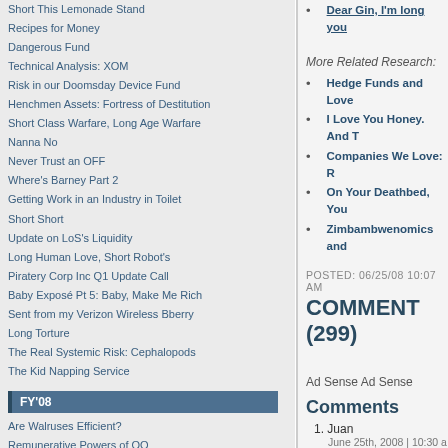Short This Lemonade Stand
Recipes for Money
Dangerous Fund
Technical Analysis: XOM
Risk in our Doomsday Device Fund
Henchmen Assets: Fortress of Destitution
Short Class Warfare, Long Age Warfare
Nanna No
Never Trust an OFF
Where's Barney Part 2
Getting Work in an Industry in Toilet
Short Short
Update on LoS's Liquidity
Long Human Love, Short Robot's
Piratery Corp Inc Q1 Update Call
Baby Exposé Pt 5: Baby, Make Me Rich
Sent from my Verizon Wireless Bberry
Long Torture
The Real Systemic Risk: Cephalopods
The Kid Napping Service
FY'08
Are Walruses Efficient?
Remunerative Powers of OO
Melissa Moody's Ratings Alternative
Dear Gin, I'm long you
More Related Research:
Hedge Funds and Love
I Love You Honey. And T
Companies We Love: R
On Your Deathbed, You
Zimbambwenomics and
POSTED: 06/25/08 10:07 AM
COMMENT (299)
Ad Sense Ad Sense
Comments
1. Juan
June 25th, 2008 | 10:30 a